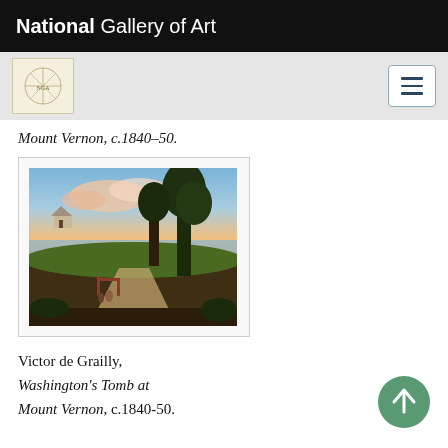National Gallery of Art
Mount Vernon, c.1840–50.
[Figure (photo): Painting showing Washington's Tomb at Mount Vernon — a landscape with trees, a path, figures near a gate, a building on a hill, and a wide river in the background under a pink and blue sunset sky. Artwork by Victor de Grailly.]
Victor de Grailly, Washington's Tomb at Mount Vernon, c.1840-50.